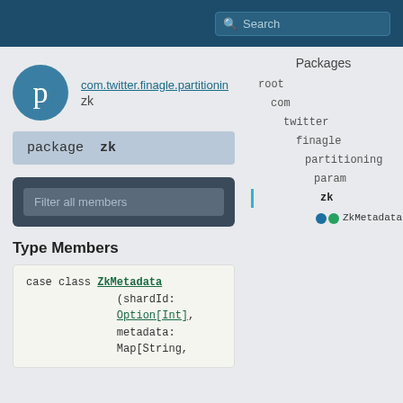Search
[Figure (screenshot): Package icon: teal circle with letter p]
com.twitter.finagle.partitioning zk
package zk
Filter all members
Packages
root
com
twitter
finagle
partitioning
param
zk
ZkMetadata
Type Members
case class ZkMetadata(shardId: Option[Int], metadata: Map[String,